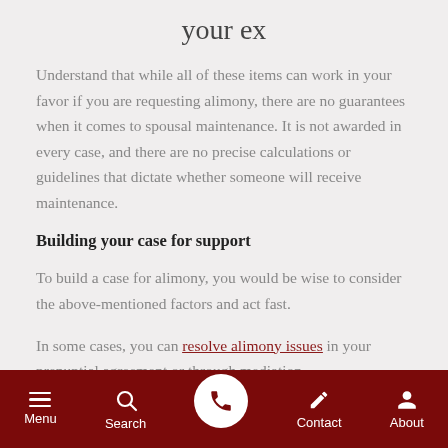your ex
Understand that while all of these items can work in your favor if you are requesting alimony, there are no guarantees when it comes to spousal maintenance. It is not awarded in every case, and there are no precise calculations or guidelines that dictate whether someone will receive maintenance.
Building your case for support
To build a case for alimony, you would be wise to consider the above-mentioned factors and act fast.
In some cases, you can resolve alimony issues in your prenuptial agreement or through mediation.
Menu  Search  [phone]  Contact  About